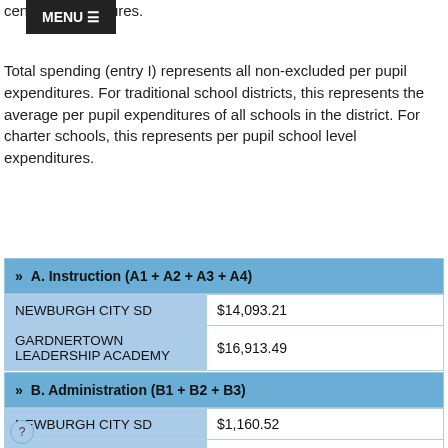central expenditures.
Total spending (entry I) represents all non-excluded per pupil expenditures. For traditional school districts, this represents the average per pupil expenditures of all schools in the district. For charter schools, this represents per pupil school level expenditures.
| A. Instruction (A1 + A2 + A3 + A4) |  |
| --- | --- |
| NEWBURGH CITY SD | $14,093.21 |
| GARDNERTOWN LEADERSHIP ACADEMY | $16,913.49 |
| B. Administration (B1 + B2 + B3) |  |
| --- | --- |
| NEWBURGH CITY SD | $1,160.52 |
|  |  |